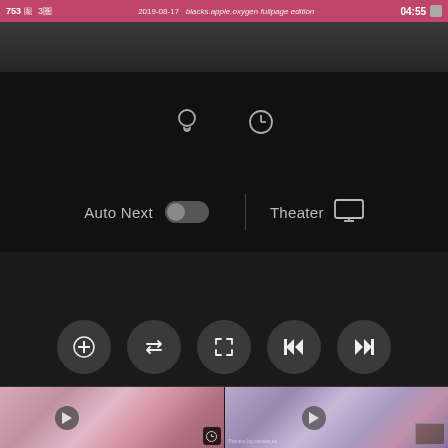[Figure (screenshot): Mobile video player interface screenshot showing status bar with '753', '3', '2019-08-17', URL, time '04:55', video controls panel with light bulb and clock icons, Auto Next toggle (off) and Theater mode button, playback control buttons (add, repeat, fullscreen, skip back, skip forward), and two video thumbnails at the bottom showing Japanese idol content.]